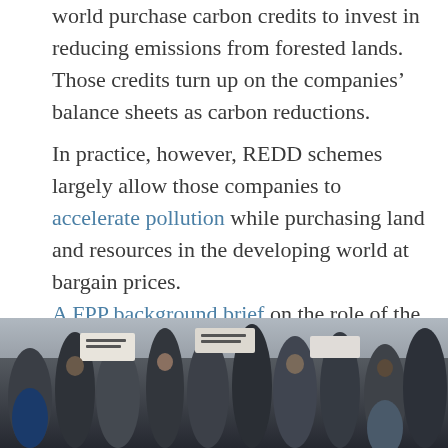world purchase carbon credits to invest in reducing emissions from forested lands. Those credits turn up on the companies' balance sheets as carbon reductions.
In practice, however, REDD schemes largely allow those companies to accelerate pollution while purchasing land and resources in the developing world at bargain prices.
A FPP background brief on the role of the World Bank claims that the implementation of NRMP – overseen by the very same KFS forces conducting a scorched earth campaign in Cherangany – violates the Bank's own operational safeguard policies.
[Figure (photo): Crowd of protesters outdoors, some holding signs, photographed from ground level]